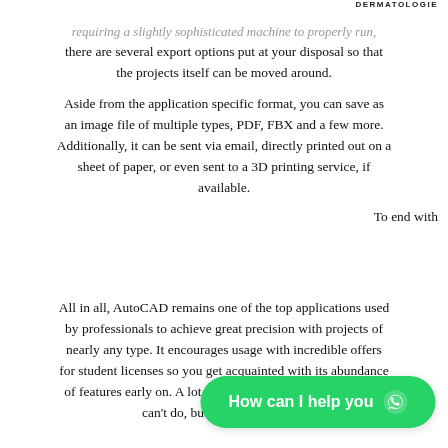DERMATOLOGIE
requiring a slightly sophisticated machine to properly run, there are several export options put at your disposal so that the projects itself can be moved around.
Aside from the application specific format, you can save as an image file of multiple types, PDF, FBX and a few more. Additionally, it can be sent via email, directly printed out on a sheet of paper, or even sent to a 3D printing service, if available.
To end with
All in all, AutoCAD remains one of the top applications used by professionals to achieve great precision with projects of nearly any type. It encourages usage with incredible offers for student licenses so you get acquainted with its abundance of features early on. A lot can be said about what it can and can't do, but the true su... ep